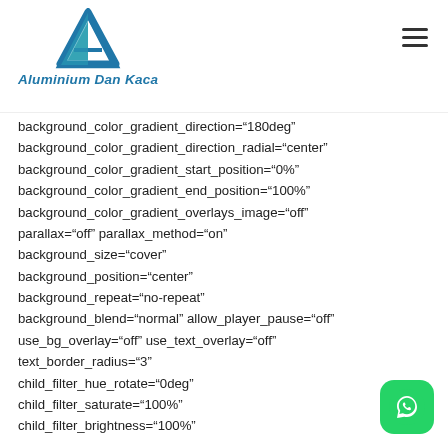[Figure (logo): Aluminium Dan Kaca company logo with teal triangle/A shape and italic bold blue text]
background_color_gradient_direction="180deg"
background_color_gradient_direction_radial="center"
background_color_gradient_start_position="0%"
background_color_gradient_end_position="100%"
background_color_gradient_overlays_image="off"
parallax="off" parallax_method="on"
background_size="cover"
background_position="center"
background_repeat="no-repeat"
background_blend="normal" allow_player_pause="off"
use_bg_overlay="off" use_text_overlay="off"
text_border_radius="3"
child_filter_hue_rotate="0deg"
child_filter_saturate="100%"
child_filter_brightness="100%"